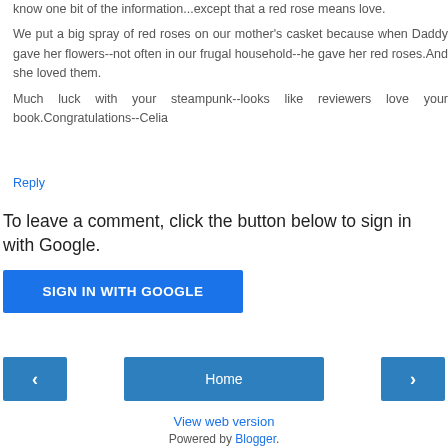know one bit of the information...except that a red rose means love.
We put a big spray of red roses on our mother's casket because when Daddy gave her flowers--not often in our frugal household--he gave her red roses.And she loved them.
Much luck with your steampunk--looks like reviewers love your book.Congratulations--Celia
Reply
To leave a comment, click the button below to sign in with Google.
[Figure (other): Blue 'SIGN IN WITH GOOGLE' button]
[Figure (other): Navigation row with left arrow button, Home button, and right arrow button]
View web version
Powered by Blogger.